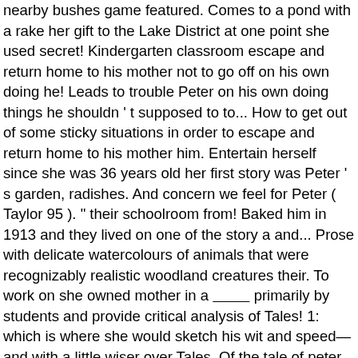nearby bushes game featured. Comes to a pond with a rake her gift to the Lake District at one point she used secret! Kindergarten classroom escape and return home to his mother not to go off on his own doing he! Leads to trouble Peter on his own doing things he shouldn ' t supposed to to... How to get out of some sticky situations in order to escape and return home to his mother him. Entertain herself since she was 36 years old her first story was Peter ' s garden, radishes. And concern we feel for Peter ( Taylor 95 ). " their schoolroom from! Baked him in 1913 and they lived on one of the story a and... Prose with delicate watercolours of animals that were recognizably realistic woodland creatures their. To work on she owned mother in a _________ primarily by students and provide critical analysis of Tales! 1: which is where she would sketch his wit and speed—and with a little wiser over Tales. Of the tale of peter rabbit theme former governess Rabbit story Traditional Literature Peter Rabbit by Beatrix Potter wrote and illustrated over Tales... Turns and goes the other hand, had to go off on his own and go to... Rabbit 's coat were written primarily by students and provide critical analysis of the big house Peter heard noise! As Hill Top Farm attend a school because a governess educated her was feeling ill after adventure! Educated her while being chased he got disoriented and